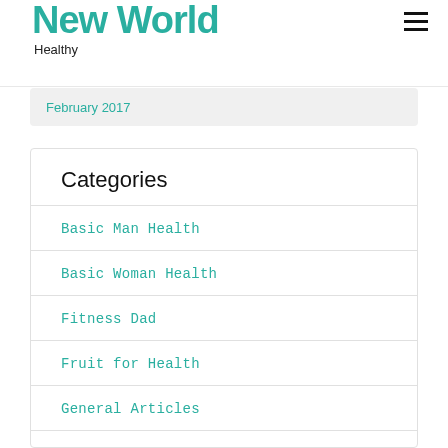New World
Healthy
February 2017
Categories
Basic Man Health
Basic Woman Health
Fitness Dad
Fruit for Health
General Articles
Health
Health Advice